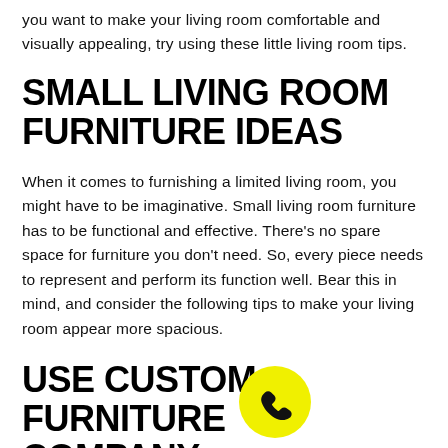you want to make your living room comfortable and visually appealing, try using these little living room tips.
SMALL LIVING ROOM FURNITURE IDEAS
When it comes to furnishing a limited living room, you might have to be imaginative. Small living room furniture has to be functional and effective. There’s no spare space for furniture you don’t need. So, every piece needs to represent and perform its function well. Bear this in mind, and consider the following tips to make your living room appear more spacious.
USE CUSTOM FURNITURE COMPANY
[Figure (illustration): Yellow circle phone/call button icon with black phone handset symbol]